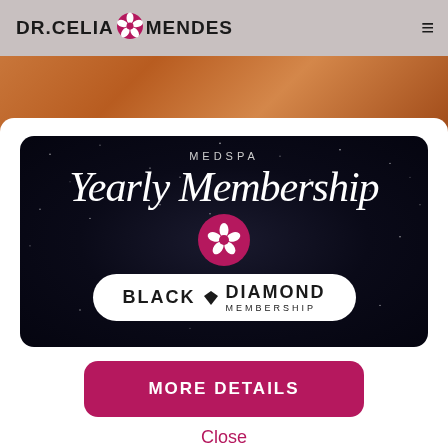DR.CELIA MENDES
[Figure (screenshot): Dr. Celia Mendes MedSpa website screenshot showing a modal popup over a hair background photo. The modal contains a dark card with 'MEDSPA Yearly Membership' in script font with hibiscus flower logo and Black Diamond Membership badge, a pink 'MORE DETAILS' button, and a 'Close' link.]
MORE DETAILS
Close